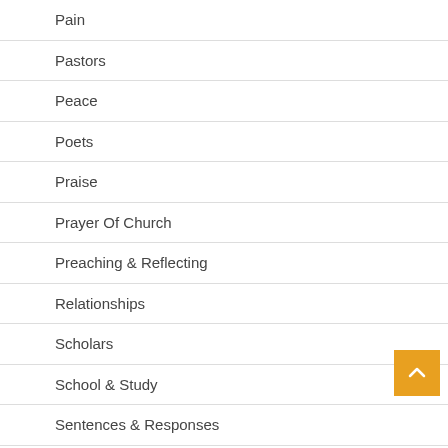Pain
Pastors
Peace
Poets
Praise
Prayer Of Church
Preaching & Reflecting
Relationships
Scholars
School & Study
Sentences & Responses